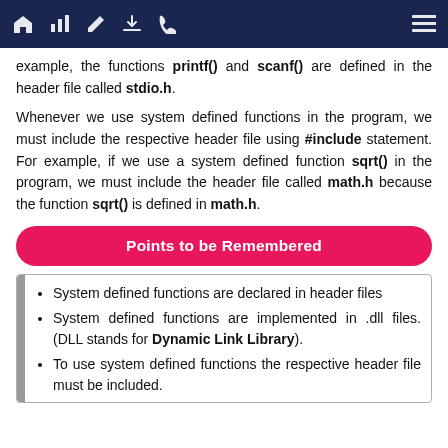Navigation bar with home, chart, edit, download, phone icons and menu
example, the functions printf() and scanf() are defined in the header file called stdio.h.
Whenever we use system defined functions in the program, we must include the respective header file using #include statement. For example, if we use a system defined function sqrt() in the program, we must include the header file called math.h because the function sqrt() is defined in math.h.
Points to be Remembered
System defined functions are declared in header files
System defined functions are implemented in .dll files. (DLL stands for Dynamic Link Library).
To use system defined functions the respective header file must be included.